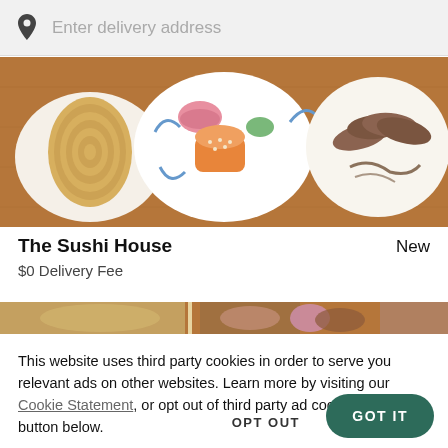[Figure (screenshot): Search bar with location pin icon and placeholder text 'Enter delivery address' on a light gray background]
[Figure (photo): Top-down photo of sushi and Japanese food on plates on a wooden surface — includes rolled sushi with sesame seeds, salmon nigiri, and sliced beef/fish on white plates]
The Sushi House
New
$0 Delivery Fee
[Figure (photo): Partial strip of a second food photo showing various dishes]
This website uses third party cookies in order to serve you relevant ads on other websites. Learn more by visiting our Cookie Statement, or opt out of third party ad cookies using the button below.
OPT OUT
GOT IT